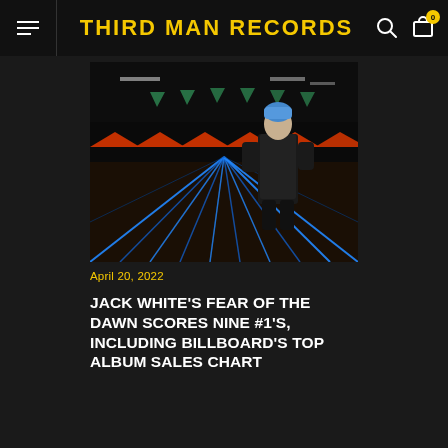THIRD MAN RECORDS
[Figure (photo): A person with blue hair wearing a black leather jacket standing in a dark bowling alley with neon-lit lanes stretching into the distance, green and orange triangular decorations visible overhead.]
April 20, 2022
JACK WHITE'S FEAR OF THE DAWN SCORES NINE #1'S, INCLUDING BILLBOARD'S TOP ALBUM SALES CHART